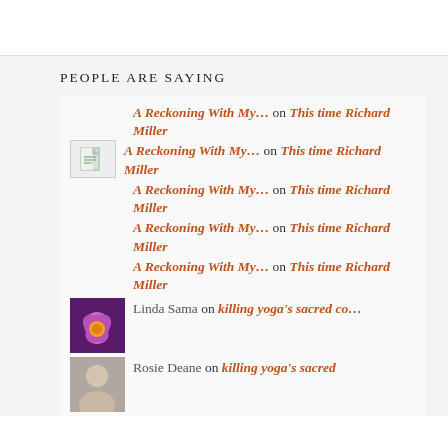PEOPLE ARE SAYING
A Reckoning With My… on This time Richard Miller
A Reckoning With My… on This time Richard Miller
A Reckoning With My… on This time Richard Miller
A Reckoning With My… on This time Richard Miller
A Reckoning With My… on This time Richard Miller
Linda Sama on killing yoga's sacred co…
Rosie Deane on killing yoga's sacred…